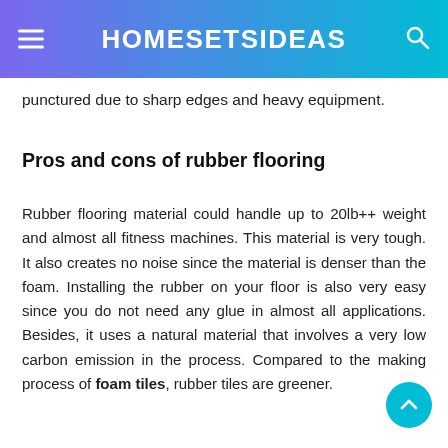HOMESETSIDEAS
punctured due to sharp edges and heavy equipment.
Pros and cons of rubber flooring
Rubber flooring material could handle up to 20lb++ weight and almost all fitness machines. This material is very tough. It also creates no noise since the material is denser than the foam. Installing the rubber on your floor is also very easy since you do not need any glue in almost all applications. Besides, it uses a natural material that involves a very low carbon emission in the process. Compared to the making process of foam tiles, rubber tiles are greener.